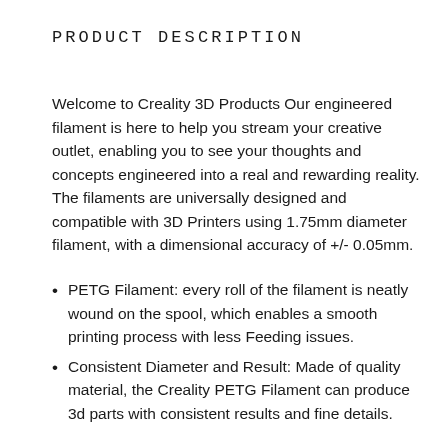PRODUCT DESCRIPTION
Welcome to Creality 3D Products Our engineered filament is here to help you stream your creative outlet, enabling you to see your thoughts and concepts engineered into a real and rewarding reality. The filaments are universally designed and compatible with 3D Printers using 1.75mm diameter filament, with a dimensional accuracy of +/- 0.05mm.
PETG Filament: every roll of the filament is neatly wound on the spool, which enables a smooth printing process with less Feeding issues.
Consistent Diameter and Result: Made of quality material, the Creality PETG Filament can produce 3d parts with consistent results and fine details.